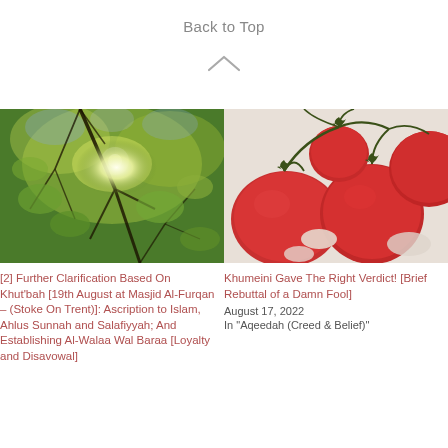Back to Top
[Figure (illustration): Chevron/caret up arrow icon]
[Figure (photo): Looking up through green tree canopy with sunlight shining through leaves and branches]
[2] Further Clarification Based On Khut'bah [19th August at Masjid Al-Furqan – (Stoke On Trent)]: Ascription to Islam, Ahlus Sunnah and Salafiyyah; And Establishing Al-Walaa Wal Baraa [Loyalty and Disavowal]
[Figure (photo): Close-up photo of red cherry tomatoes on the vine with some white mold visible]
Khumeini Gave The Right Verdict! [Brief Rebuttal of a Damn Fool]
August 17, 2022
In "Aqeedah (Creed & Belief)"